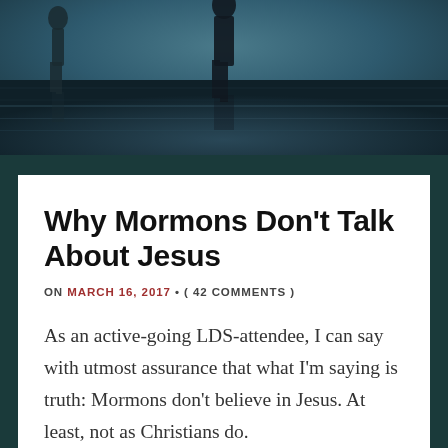[Figure (photo): Dark atmospheric photo of silhouetted figures walking on a wet reflective surface, teal/dark tones]
Why Mormons Don't Talk About Jesus
ON MARCH 16, 2017 • ( 42 COMMENTS )
As an active-going LDS-attendee, I can say with utmost assurance that what I'm saying is truth: Mormons don't believe in Jesus. At least, not as Christians do.